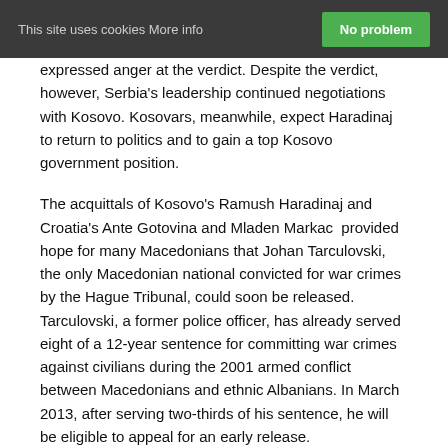This site uses cookies More info   No problem
expressed anger at the verdict. Despite the verdict, however, Serbia's leadership continued negotiations with Kosovo. Kosovars, meanwhile, expect Haradinaj to return to politics and to gain a top Kosovo government position.
The acquittals of Kosovo's Ramush Haradinaj and Croatia's Ante Gotovina and Mladen Markac provided hope for many Macedonians that Johan Tarculovski, the only Macedonian national convicted for war crimes by the Hague Tribunal, could soon be released. Tarculovski, a former police officer, has already served eight of a 12-year sentence for committing war crimes against civilians during the 2001 armed conflict between Macedonians and ethnic Albanians. In March 2013, after serving two-thirds of his sentence, he will be eligible to appeal for an early release.
In December the ICTY imprisoned for life two Bosnian Serb